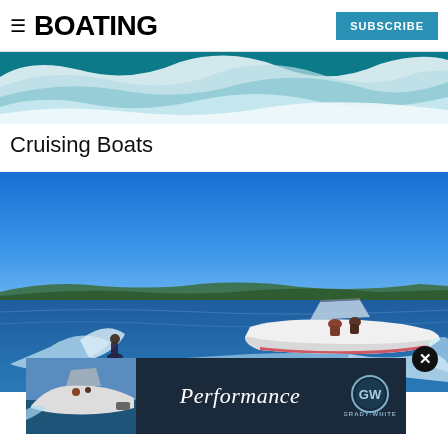BOATING | SUBSCRIBE
[Figure (photo): Aerial/close-up photo of a teal ocean wave crashing with white foam, used as a decorative header banner]
Cruising Boats
[Figure (photo): Photo of a white speedboat on a lake towing a wake surfer on a sunny day with blue sky]
[Figure (photo): Advertisement banner for Grady-White boats reading 'Performance' with Grady-White logo and a photo of a center console boat]